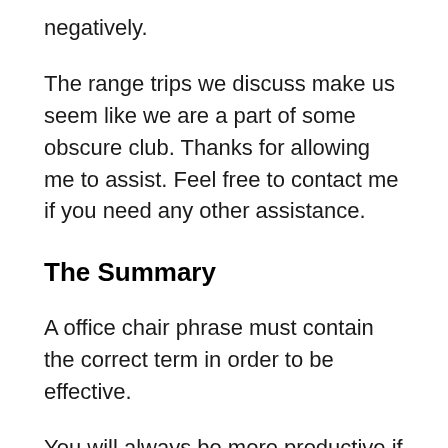negatively.
The range trips we discuss make us seem like we are a part of some obscure club. Thanks for allowing me to assist. Feel free to contact me if you need any other assistance.
The Summary
A office chair phrase must contain the correct term in order to be effective.
You will always be more productive if you make use of it. You should then be able to continue working